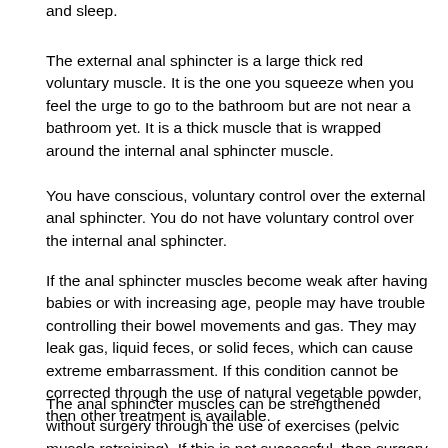and sleep.
The external anal sphincter is a large thick red voluntary muscle. It is the one you squeeze when you feel the urge to go to the bathroom but are not near a bathroom yet. It is a thick muscle that is wrapped around the internal anal sphincter muscle.
You have conscious, voluntary control over the external anal sphincter. You do not have voluntary control over the internal anal sphincter.
If the anal sphincter muscles become weak after having babies or with increasing age, people may have trouble controlling their bowel movements and gas. They may leak gas, liquid feces, or solid feces, which can cause extreme embarrassment. If this condition cannot be corrected through the use of natural vegetable powder, then other treatment is available.
The anal sphincter muscles can be strengthened without surgery through the use of exercises (pelvic muscle retraining). If this is not successful, then surgery may be needed to tighten the anal